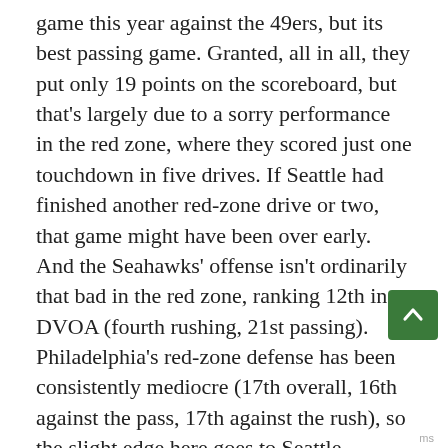game this year against the 49ers, but its best passing game. Granted, all in all, they put only 19 points on the scoreboard, but that's largely due to a sorry performance in the red zone, where they scored just one touchdown in five drives. If Seattle had finished another red-zone drive or two, that game might have been over early. And the Seahawks' offense isn't ordinarily that bad in the red zone, ranking 12th in DVOA (fourth rushing, 21st passing). Philadelphia's red-zone defense has been consistently mediocre (17th overall, 16th against the pass, 17th against the rush), so the slight edge here goes to Seattle.
Usually at this point in the game preview, we'd talk about the offense's most dangerous or prolific receivers, and how they match up one-on-one with the key members of the opposing secondary. With Seattle's offense, though, that's a fool's exercise,